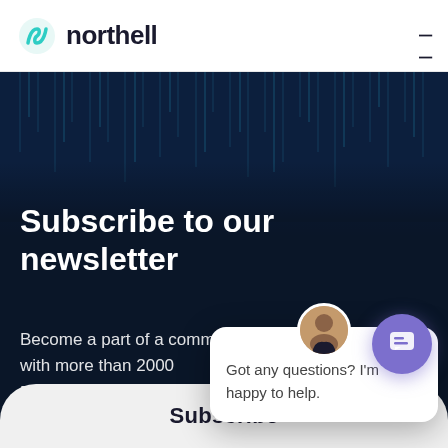northell
Subscribe to our newsletter
Become a part of a community with more than 2000 Entrepreneurs who want to create valuable products.
Email address*
[Figure (screenshot): Chat popup with avatar and text: Got any questions? I'm happy to help.]
Subscribe